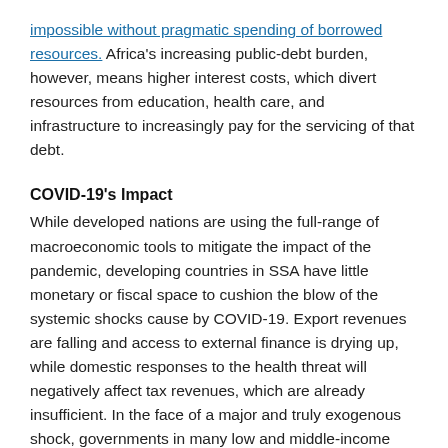impossible without pragmatic spending of borrowed resources. Africa's increasing public-debt burden, however, means higher interest costs, which divert resources from education, health care, and infrastructure to increasingly pay for the servicing of that debt.
COVID-19's Impact
While developed nations are using the full-range of macroeconomic tools to mitigate the impact of the pandemic, developing countries in SSA have little monetary or fiscal space to cushion the blow of the systemic shocks cause by COVID-19. Export revenues are falling and access to external finance is drying up, while domestic responses to the health threat will negatively affect tax revenues, which are already insufficient. In the face of a major and truly exogenous shock, governments in many low and middle-income countries must contend with soaring spending needs, declining revenues, and insufficient resources to borrow from to fill this gap. As a result, their ability to meet their existing